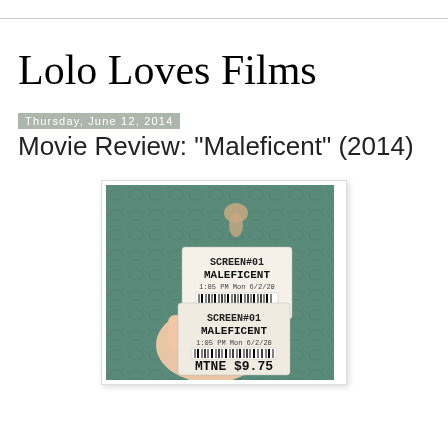Lolo Loves Films
Thursday, June 12, 2014
Movie Review: "Maleficent" (2014)
[Figure (photo): A hand holding two movie ticket stubs for MALEFICENT, SCREEN #01, 1:05 PM Mon 6/2/20, MTNE $9.75, shown against a teal patterned background.]